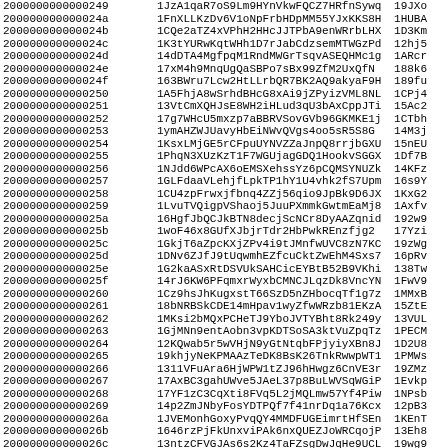| 2000000000000249 | 1JzA1qaR7oS9Lm9HYnVkwFQCZ7HRfnSywq | 19JXo |
| 200000000000024a | 1FnXLLKzDv6V1oNpFrbHDpMM55YJxKKS8H | 1HUBA |
| 200000000000024b | 1CQe2aTZ4xVPhH2HHcJJTPbA9enWRrbLHX | 1D3Km |
| 200000000000024c | 1K3tYURwKqtWHh1D7rJabCdzsemMTWGzPd | 12hj5 |
| 200000000000024d | 14dDTA4MgfpqM1RndMWGrTsqvASEQHMc1g | 1ARcr |
| 200000000000024e | 17xM4h9MnqUgQaSBPo7sBx99ZfM2UxQfN | 188k6 |
| 200000000000024f | 163BWru7Lcw2HtLLrbQR7BK2AQ9akyaF9H | 189fu |
| 2000000000000250 | 1A5FhjA8wSrhdBHcG8xAi9jZPyizVML8NL | 1CPj4 |
| 2000000000000251 | 13VtCmXQHJsE8WH2iHLud3qU3bAxCppJTi | 15Ac2 |
| 2000000000000252 | 17g7WHcU5mxzp7aBBRVSovGVb96GKMKE1j | 1CTbh |
| 2000000000000253 | 1ymAHZWJUavyHbEiNWvQVgs4oo5sR5S8G | 14M3j |
| 2000000000000254 | 1KsxLMjGE5rCFpuUYNVZZaJnpQ8rrjbGXU | 15nEU |
| 2000000000000255 | 1PhqN3XUzKzT1F7WGUjagGDQ1HookvSGGX | 1Df7B |
| 2000000000000256 | 1NJdd6WPcAX6oEMSXehssYz6pCQMSYNUZk | 14KFz |
| 2000000000000257 | 1GLFdaaVLehjfLpkTP1hY1U4vhk2fS7Upm | 16s9Y |
| 2000000000000258 | 1CU4zpFrwxjfbnq4ZZj56qio9JpBk9D6JX | 1KxG2 |
| 2000000000000259 | 1LvuTVQigpVShaoj5JuuPXmmkGwtmEaMj8 | 1Axfv |
| 200000000000025a | 16HgfJbQCJkBTN8decjScNCr8DyAAZqnid | 192w9 |
| 200000000000025b | 1woF46x8GUfXJbjrTdr2HbPwkREnzfjg2 | 17Yzi |
| 200000000000025c | 1GkjT6aZpcKXjZPv4i9tJMnfwUVC8zN7KC | 19zWg |
| 200000000000025d | 1DNv6ZJfJ9tUqwmhEZfcuCktZwEhM4Sxs7 | 16pRv |
| 200000000000025e | 1G2kaASxRtDSVUkSAHCicEYBtB52B9VKhi | 138Tw |
| 200000000000025f | 14rJ6KW6PFqmxrWyxbCMNCJLqzDk8VncYN | 1FwV9 |
| 2000000000000260 | 1Cz9hsJhKugxstT66SzD5nZHbocqTf1g7z | 1MMxB |
| 2000000000000261 | 18bNRBSkCDE14mHpav1wyZfwWRzb81EKzA | 15ZtE |
| 2000000000000262 | 1MKsi2bMQxPCHeTJ9YboJVTYBht8Rk249y | 13VUL |
| 2000000000000263 | 1GjMNn9entAobn3vpKDTSoSA3ktVuZpqTz | 1PECM |
| 2000000000000264 | 12KQwab5r5wVHjN9yGtNtqbFPjyiyXBn8J | 1D2U8 |
| 2000000000000265 | 19khjyNeKPMAAzTeDK8BsK26TnkRwwpWT1 | 1PMWs |
| 2000000000000266 | 1311VFuAra6HjWPW1tZJ96hHwgz6CnVE3r | 19ZMz |
| 2000000000000267 | 17AxBC3gahUWve5JAeL37p8BuLWVSqWGiP | 1Evkp |
| 2000000000000268 | 17YF1zC3CqXti8FVq5L2jMQLmw57Yf4Piw | 1NPsb |
| 2000000000000269 | 14p2ZmJNbyFosYDTPQf7f41nrDq1a76Kcx | 12pB3 |
| 200000000000026a | 1JVEMonhGoxyPvqQY4MMDFUGEimrtHfSEn | 1KEnT |
| 200000000000026b | 1646rzPjFkUnxviPAk6nxQUEZJoWRCqojP | 13Eh8 |
| 200000000000026c | 13ntzCFVGJAs6s2Kz4TaFZsgDwJqHe9UCL | 19wg9 |
| 200000000000026d | 1DyXkeSzdiDmYx1Mr8F3WfQTdgKy46QgTX | 14Sgb |
| 200000000000026e | 1JYQWHVCrhuVYeUYi0w5pneAzGrR7ZdpaRR | 19dzR |